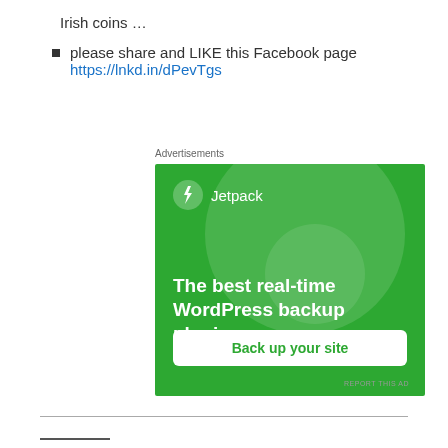Irish coins …
please share and LIKE this Facebook page
https://lnkd.in/dPevTgs
Advertisements
[Figure (other): Jetpack advertisement banner — green background with decorative circles, Jetpack logo and name at top, headline 'The best real-time WordPress backup plugin', white CTA button 'Back up your site', 'REPORT THIS AD' text at bottom right.]